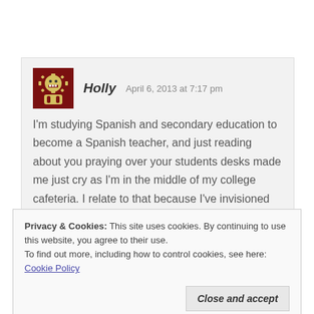Holly   April 6, 2013 at 7:17 pm
I'm studying Spanish and secondary education to become a Spanish teacher, and just reading about you praying over your students desks made me just cry as I'm in the middle of my college cafeteria. I relate to that because I've invisioned myself doing the same. Isn't it so amazing what God can do?! You
Privacy & Cookies: This site uses cookies. By continuing to use this website, you agree to their use.
To find out more, including how to control cookies, see here: Cookie Policy
Close and accept